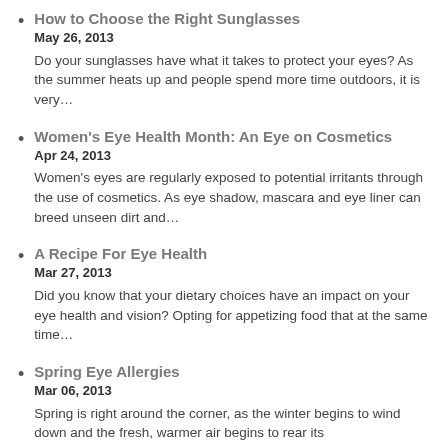How to Choose the Right Sunglasses
May 26, 2013
Do your sunglasses have what it takes to protect your eyes? As the summer heats up and people spend more time outdoors, it is very...
Women's Eye Health Month: An Eye on Cosmetics
Apr 24, 2013
Women's eyes are regularly exposed to potential irritants through the use of cosmetics. As eye shadow, mascara and eye liner can breed unseen dirt and...
A Recipe For Eye Health
Mar 27, 2013
Did you know that your dietary choices have an impact on your eye health and vision? Opting for appetizing food that at the same time...
Spring Eye Allergies
Mar 06, 2013
Spring is right around the corner, as the winter begins to wind down and the fresh, warmer air begins to rear its